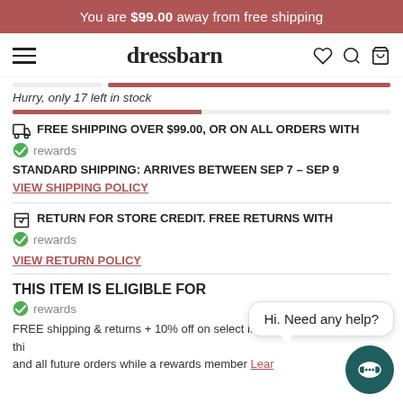You are $99.00 away from free shipping
[Figure (screenshot): Dressbarn navigation bar with hamburger menu, logo, heart icon, search icon, and cart icon]
Hurry, only 17 left in stock
FREE SHIPPING OVER $99.00, OR ON ALL ORDERS WITH rewards
STANDARD SHIPPING: ARRIVES BETWEEN SEP 7 – SEP 9
VIEW SHIPPING POLICY
RETURN FOR STORE CREDIT. FREE RETURNS WITH rewards
VIEW RETURN POLICY
THIS ITEM IS ELIGIBLE FOR
rewards
FREE shipping & returns + 10% off on select items thi and all future orders while a rewards member Learn